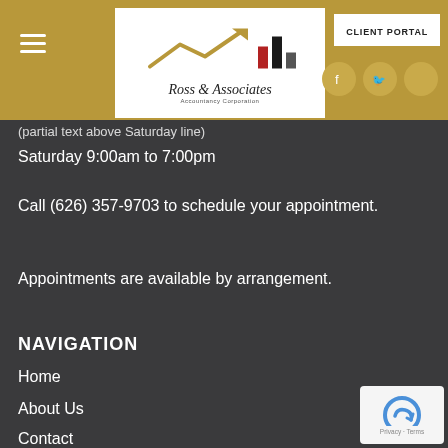CLIENT PORTAL
[Figure (logo): Ross & Associates Accountancy Corporation logo with upward arrow and bar chart graphic]
Saturday 9:00am to 7:00pm
Call (626) 357-9703 to schedule your appointment.
Appointments are available by arrangement.
NAVIGATION
Home
About Us
Contact